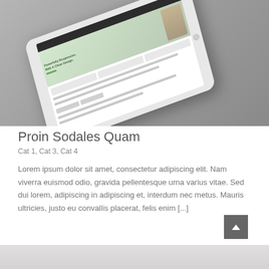[Figure (photo): A white tablet (iPad-like device) displayed at an angle on a gray background, showing a website with a hero section featuring a green color scheme and a woman raising her arm.]
Proin Sodales Quam
Cat 1, Cat 3, Cat 4
Lorem ipsum dolor sit amet, consectetur adipiscing elit. Nam viverra euismod odio, gravida pellentesque urna varius vitae. Sed dui lorem, adipiscing in adipiscing et, interdum nec metus. Mauris ultricies, justo eu convallis placerat, felis enim [...]
[Figure (photo): Bottom partial image showing a light gray textured surface, partially visible at the bottom of the page.]